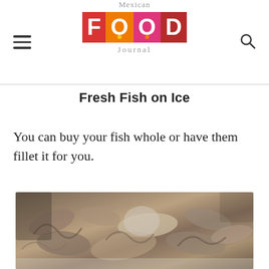Mexican FOOD Journal
Fresh Fish on Ice
You can buy your fish whole or have them fillet it for you.
[Figure (photo): Fresh seafood — small octopus and squid piled on ice at a fish market, showing tentacles and bodies in muted brown, grey, and cream tones.]